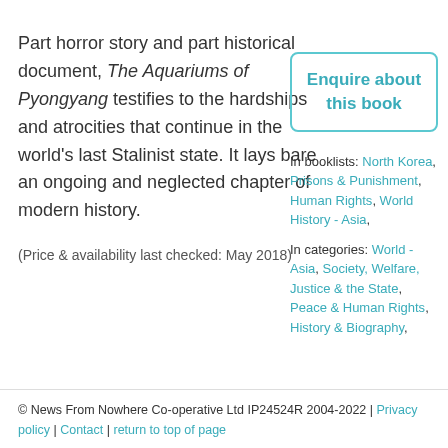Part horror story and part historical document, The Aquariums of Pyongyang testifies to the hardships and atrocities that continue in the world's last Stalinist state. It lays bare an ongoing and neglected chapter of modern history.
(Price & availability last checked: May 2018)
Enquire about this book
In booklists: North Korea, Prisons & Punishment, Human Rights, World History - Asia,
In categories: World - Asia, Society, Welfare, Justice & the State, Peace & Human Rights, History & Biography,
© News From Nowhere Co-operative Ltd IP24524R 2004-2022 | Privacy policy | Contact | return to top of page